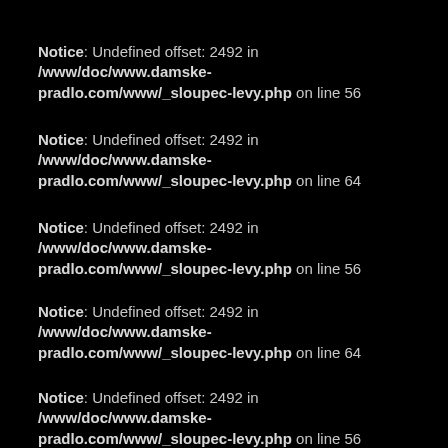Notice: Undefined offset: 2492 in /www/doc/www.damske-pradlo.com/www/_sloupec-levy.php on line 56
Notice: Undefined offset: 2492 in /www/doc/www.damske-pradlo.com/www/_sloupec-levy.php on line 64
Notice: Undefined offset: 2492 in /www/doc/www.damske-pradlo.com/www/_sloupec-levy.php on line 56
Notice: Undefined offset: 2492 in /www/doc/www.damske-pradlo.com/www/_sloupec-levy.php on line 64
Notice: Undefined offset: 2492 in /www/doc/www.damske-pradlo.com/www/_sloupec-levy.php on line 56
Notice: Undefined offset: 2492 in /www/doc/www.damske-pradlo.com/www/_sloupec-levy.php on line 64